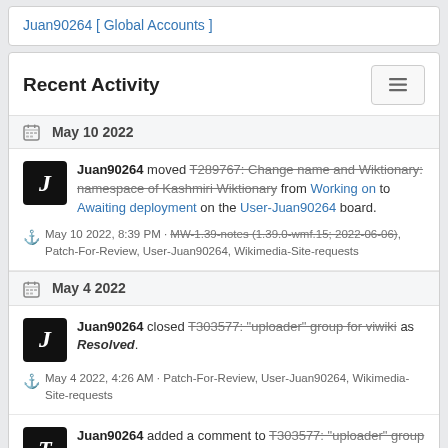Juan90264 [ Global Accounts ]
Recent Activity
May 10 2022
Juan90264 moved T289767: Change name and Wiktionary: namespace of Kashmiri Wiktionary from Working on to Awaiting deployment on the User-Juan90264 board.
May 10 2022, 8:39 PM · MW-1.39-notes (1.39.0-wmf.15; 2022-06-06), Patch-For-Review, User-Juan90264, Wikimedia-Site-requests
May 4 2022
Juan90264 closed T303577: "uploader" group for viwiki as Resolved.
May 4 2022, 4:26 AM · Patch-For-Review, User-Juan90264, Wikimedia-Site-requests
Juan90264 added a comment to T303577: "uploader" group